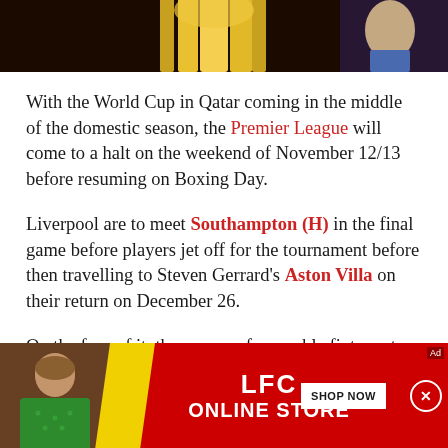[Figure (photo): Top portion of image showing what appears to be a golden trophy or cup, partially visible at the top of the page]
With the World Cup in Qatar coming in the middle of the domestic season, the Premier League will come to a halt on the weekend of November 12/13 before resuming on Boxing Day.
Liverpool are to meet Southampton (H) in the final game before players jet off for the tournament before then travelling to Steven Gerrard's Aston Villa on their return on December 26.
On the face of it, they appear favourable fixtures to end the first part of the season and on a return that
[Figure (advertisement): LFC Online Store advertisement banner with red background, yellow diagonal stripe, man in green shirt, and SHOP NOW button]